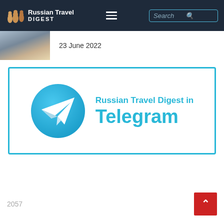Russian Travel DIGEST
23 June 2022
[Figure (logo): Russian Travel Digest in Telegram banner with Telegram logo (blue circle with white paper plane) and text 'Russian Travel Digest in Telegram']
2057